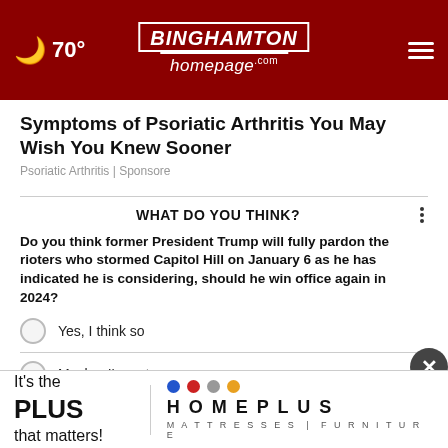☁ 70° — BINGHAMTON homepage.com
Symptoms of Psoriatic Arthritis You May Wish You Knew Sooner
Psoriatic Arthritis | Sponsore
WHAT DO YOU THINK?
Do you think former President Trump will fully pardon the rioters who stormed Capitol Hill on January 6 as he has indicated he is considering, should he win office again in 2024?
Yes, I think so
Maybe, I'm not sure
No, I don't think so
[Figure (screenshot): Advertisement banner: It's the PLUS that matters! HOMEPLUS MATTRESSES | FURNITURE with colored dots]